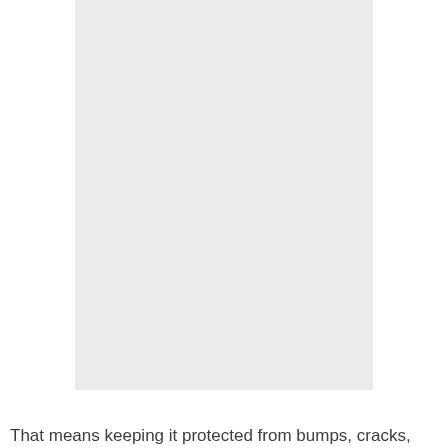[Figure (other): A large light gray blank rectangular area, likely a placeholder image.]
That means keeping it protected from bumps, cracks,